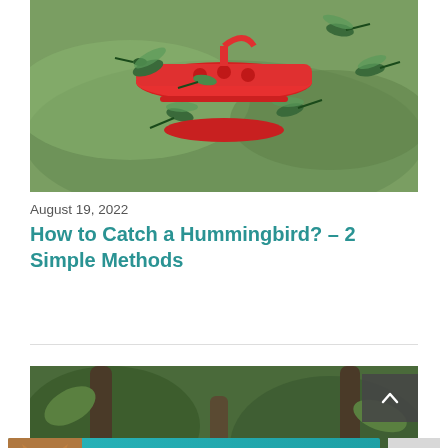[Figure (photo): Multiple hummingbirds feeding at a red circular hummingbird feeder, green blurred background]
August 19, 2022
How to Catch a Hummingbird? – 2 Simple Methods
[Figure (photo): A dark bird (possibly a blackbird or cowbird) perched on tree branches among foliage]
[Figure (advertisement): Best Friends Forever pet advertisement banner with a cat photo, teal background, hearts and paw icons]